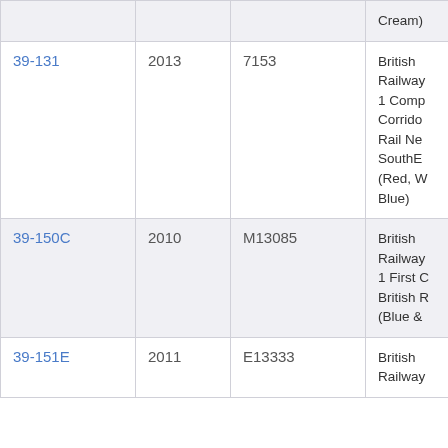| Code | Year | Number | Description |
| --- | --- | --- | --- |
|  |  |  | Cream) |
| 39-131 | 2013 | 7153 | British Railway 1 Comp Corridor Rail Ne SouthE (Red, W Blue) |
| 39-150C | 2010 | M13085 | British Railway 1 First C British R (Blue & |
| 39-151E | 2011 | E13333 | British Railway |